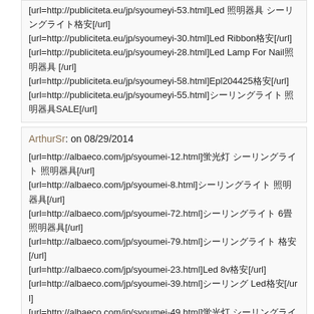[url=http://publiciteta.eu/jp/syoumeyi-53.html]Led 照明器具 シーリングライト格安[/url]
[url=http://publiciteta.eu/jp/syoumeyi-30.html]Led Ribbon格安[/url]
[url=http://publiciteta.eu/jp/syoumeyi-28.html]Led Lamp For Nail照明器具 [/url]
[url=http://publiciteta.eu/jp/syoumeyi-58.html]Epl204425格安[/url]
[url=http://publiciteta.eu/jp/syoumeyi-55.html]シーリングライト 照明器具SALE[/url]
ArthurSr: on 08/29/2014
[url=http://albaeco.com/jp/syoumei-12.html]蛍光灯 シーリングライト 照明器具[/url]
[url=http://albaeco.com/jp/syoumei-8.html]シーリングライト 照明器具[/url]
[url=http://albaeco.com/jp/syoumei-72.html]シーリングライト 6畳 照明器具[/url]
[url=http://albaeco.com/jp/syoumei-79.html]シーリングライト 格安[/url]
[url=http://albaeco.com/jp/syoumei-23.html]Led 8v格安[/url]
[url=http://albaeco.com/jp/syoumei-39.html]シーリング Led格安[/url]
[url=http://albaeco.com/jp/syoumei-49.html]蛍光灯 シーリングライト格安[/url]
[url=http://albaeco.com/jp/syoumei-74.html]シーリングライト 照明器具 [/url]
[url=http://albaeco.com/jp/syoumei-55.html]シーリングライト 照明器具sale格安[/url]
[url=http://albaeco.com/jp/syoumei-14.html]Led シーリング [/url]
[url=http://albaeco.com/jp/syoumei-82.html]蛍光灯 シーリングライト[/url]
[url=http://albaeco.com/jp/syoumei-80.html]シーリング Led 照明器具 格安[/url]
[url=http://albaeco.com/jp/syoumei-65.html]シーリングライト 格安2014格安[/url]
[url=http://albaeco.com/jp/syoumei-19.html]Led 2ch格安[/url]